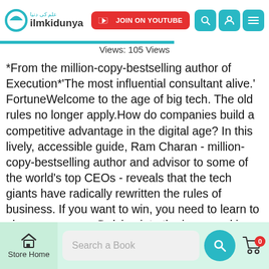ilmkidunya | JOIN ON YOUTUBE
Views: 105 Views
*From the million-copy-bestselling author of Execution*'The most influential consultant alive.' FortuneWelcome to the age of big tech. The old rules no longer apply.How do companies build a competitive advantage in the digital age? In this lively, accessible guide, Ram Charan - million-copy-bestselling author and advisor to some of the world's top CEOs - reveals that the tech giants have radically rewritten the rules of business. If you want to win, you need to learn to play a new game.Delving into the inner workings of the likes of Netflix, Amazon and Alibaba, Charan uncovers the six unwritten rules that make the digital giants thrive: from how they use digital platforms and create corporate
Store Home | Search a Book | 0